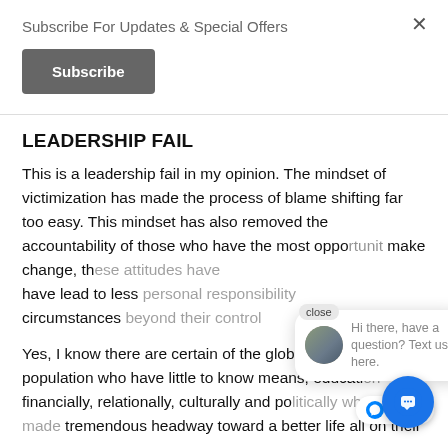Subscribe For Updates & Special Offers
Subscribe
LEADERSHIP FAIL
This is a leadership fail in my opinion. The mindset of victimization has made the process of blame shifting far too easy. This mindset has also removed the accountability of those who have the most oppo[rtunity to] make change, th[ese attitudes have] have lead to less [personal responsibility for] circumstances [beyond their control]
Yes, I know there are certain of the global human population who have little to know means, educati[on] financially, relationally, culturally and po[litically who have made] tremendous headway toward a better life all on their [own...]